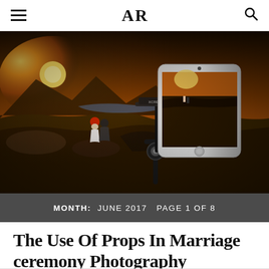AR
[Figure (photo): A couple sitting on a rocky hilltop at sunset/golden hour with mountains and a lake in the background. In the foreground right, a smartphone mounted on a gimbal/stabilizer rig is capturing the scene, showing the couple on its screen.]
MONTH: JUNE 2017  PAGE 1 OF 8
The Use Of Props In Marriage ceremony Photography